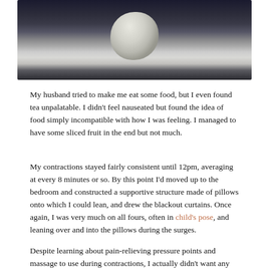[Figure (photo): A person holding a newborn baby swaddled in a white cloth, both wearing dark clothing, photographed from the chest up.]
My husband tried to make me eat some food, but I even found tea unpalatable. I didn't feel nauseated but found the idea of food simply incompatible with how I was feeling. I managed to have some sliced fruit in the end but not much.
My contractions stayed fairly consistent until 12pm, averaging at every 8 minutes or so. By this point I'd moved up to the bedroom and constructed a supportive structure made of pillows onto which I could lean, and drew the blackout curtains. Once again, I was very much on all fours, often in child's pose, and leaning over and into the pillows during the surges.
Despite learning about pain-relieving pressure points and massage to use during contractions, I actually didn't want any physical contact during my surges and wanted to be